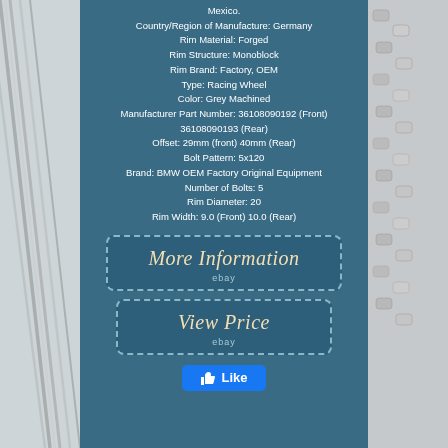[Figure (photo): Left side photo showing metal rods/spokes against a light background]
Mexico.
Country/Region of Manufacture: Germany
Rim Material: Forged
Rim Structure: Monoblock
Rim Brand: Factory, OEM
Type: Racing Wheel
Color: Grey Machined
Manufacturer Part Number: 36108090192 (Front) 36108090193 (Rear)
Offset: 29mm (front) 40mm (Rear)
Bolt Pattern: 5x120
Brand: BMW OEM Factory Original Equipment
Number of Bolts: 5
Rim Diameter: 20
Rim Width: 9.0 (Front) 10.0 (Rear)
[Figure (other): More Information button with eBay label and dashed border]
[Figure (other): View Price button with eBay label and dashed border]
[Figure (other): Facebook Like button]
[Figure (photo): Right side photo showing metal bolts/nuts against a light background]